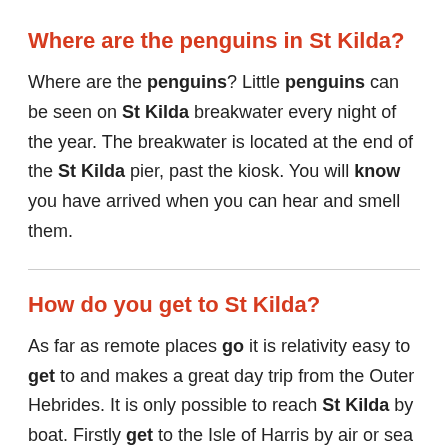Where are the penguins in St Kilda?
Where are the penguins? Little penguins can be seen on St Kilda breakwater every night of the year. The breakwater is located at the end of the St Kilda pier, past the kiosk. You will know you have arrived when you can hear and smell them.
How do you get to St Kilda?
As far as remote places go it is relativity easy to get to and makes a great day trip from the Outer Hebrides. It is only possible to reach St Kilda by boat. Firstly get to the Isle of Harris by air or sea